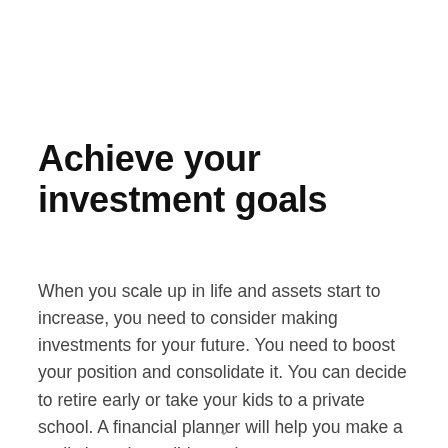Achieve your investment goals
When you scale up in life and assets start to increase, you need to consider making investments for your future. You need to boost your position and consolidate it. You can decide to retire early or take your kids to a private school. A financial planner will help you make a realistic and possible goal.